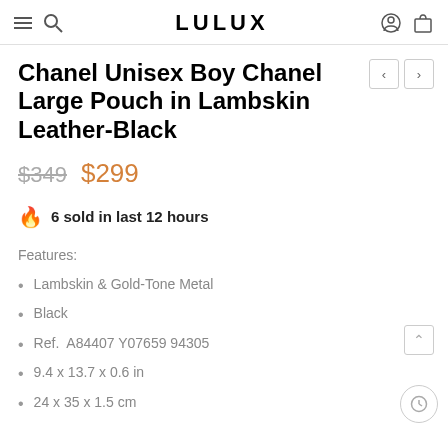LULUX
Chanel Unisex Boy Chanel Large Pouch in Lambskin Leather-Black
$349  $299
🔥 6 sold in last 12 hours
Features:
Lambskin & Gold-Tone Metal
Black
Ref.  A84407 Y07659 94305
9.4 x 13.7 x 0.6 in
24 x 35 x 1.5 cm